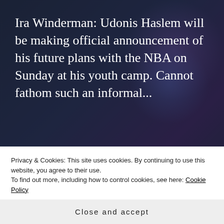Ira Winderman: Udonis Haslem will be making official announcement of his future plans with the NBA on Sunday at his youth camp. Cannot fathom such an informal...
READ MORE →
Privacy & Cookies: This site uses cookies. By continuing to use this website, you agree to their use.
To find out more, including how to control cookies, see here: Cookie Policy
Close and accept